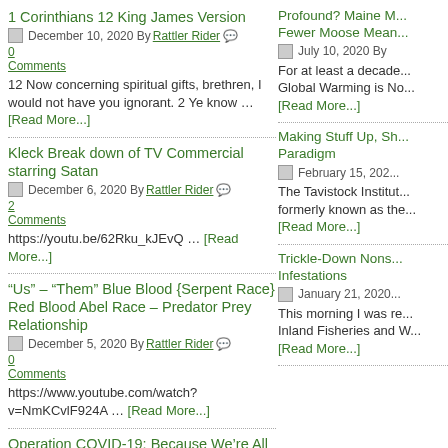1 Corinthians 12 King James Version
December 10, 2020 By Rattler Rider  0 Comments
12 Now concerning spiritual gifts, brethren, I would not have you ignorant. 2 Ye know … [Read More...]
Kleck Break down of TV Commercial starring Satan
December 6, 2020 By Rattler Rider  2 Comments
https://youtu.be/62Rku_kJEvQ … [Read More...]
“Us” – “Them” Blue Blood {Serpent Race} Red Blood Abel Race – Predator Prey Relationship
December 5, 2020 By Rattler Rider  0 Comments
https://www.youtube.com/watch?v=NmKCvlF924A … [Read More...]
Operation COVID-19: Because We’re All Really Stupid
Profound? Maine M... Fewer Moose Mean...
July 10, 2020 By
For at least a decade... Global Warming is No... [Read More...]
Making Stuff Up, Sh... Paradigm
February 15, 202...
The Tavistock Institut... formerly known as the... [Read More...]
Trickle-Down Nons... Infestations
January 21, 2020...
This morning I was re... Inland Fisheries and W... [Read More...]